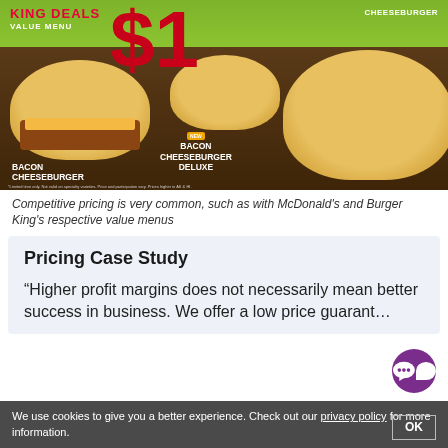[Figure (photo): Burger King value menu advertisement showing three burgers: Bacon Cheeseburger, Bacon Cheeseburger Deluxe (labeled NEW), and Cheeseburger, with a large red $1 price and 'King Deals Value Menu' text on a green and brown background.]
Competitive pricing is very common, such as with McDonald's and Burger King's respective value menus
Pricing Case Study
“Higher profit margins does not necessarily mean better success in business. We offer a low price guarant…
We use cookies to give you a better experience. Check out our privacy policy for more information. OK